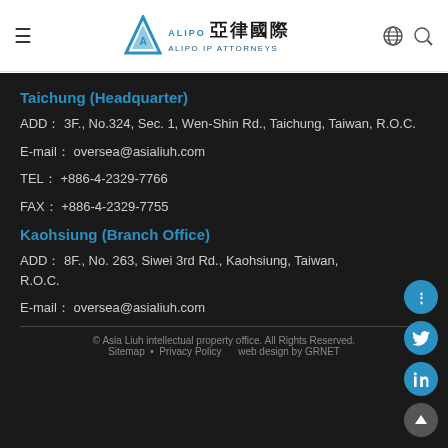亞律國際 ALIPO IP ATTORNEYS
Taichung (Headquarter)
ADD： 3F., No.324, Sec. 1, Wen-Shin Rd., Taichung, Taiwan, R.O.C.
E-mail： oversea@asialiuh.com
TEL： +886-4-2329-7766
FAX： +886-4-2329-7755
Kaohsiung (Branch Office)
ADD： 8F., No. 263, Siwei 3rd Rd., Kaohsiung, Taiwan, R.O.C.
E-mail： oversea@asialiuh.com
© Asia Liuh intellectual property office. All Rights Reserved. Sitemap • Privacy Policy    web design by GRNET